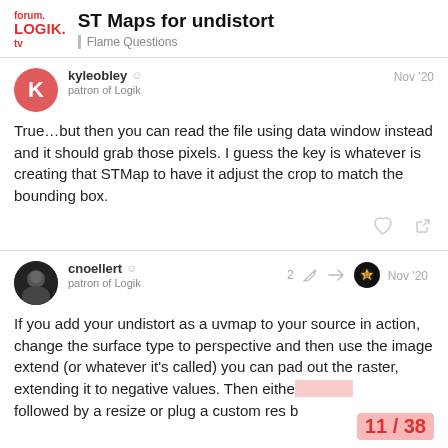forum. LOGIK. tv | ST Maps for undistort | Flame Questions
kyleobley  patron of Logik  Nov '20
True…but then you can read the file using data window instead and it should grab those pixels. I guess the key is whatever is creating that STMap to have it adjust the crop to match the bounding box.
cnoellert  patron of Logik  2  Nov '20
If you add your undistort as a uvmap to your source in action, change the surface type to perspective and then use the image extend (or whatever it's called) you can pad out the raster, extending it to negative values. Then eithe followed by a resize or plug a custom res b
11 / 38